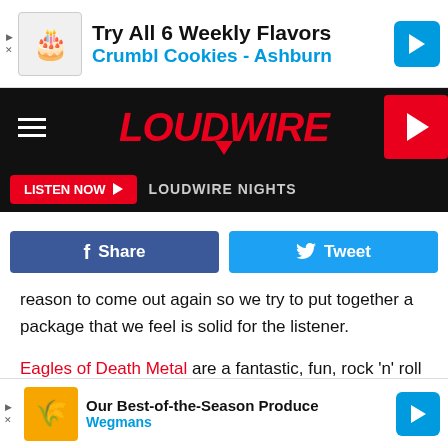[Figure (screenshot): Advertisement banner for Crumbl Cookies - Ashburn: Try All 6 Weekly Flavors]
LOUDWIRE
LISTEN NOW  LOUDWIRE NIGHTS
[Figure (screenshot): Social share buttons: Share (Facebook) and Tweet (Twitter)]
reason to come out again so we try to put together a package that we feel is solid for the listener.
Eagles of Death Metal are a fantastic, fun, rock 'n' roll band and I think that we share a lot of the same crowds. A lot of Mastodon fans like them, Eagles fans like us. I think if we put the two together, it's gonna draw from both bands fan bases and just make it bigger and better. We always try to do that.
[Figure (screenshot): Advertisement banner for Wegmans: Our Best-of-the-Season Produce]